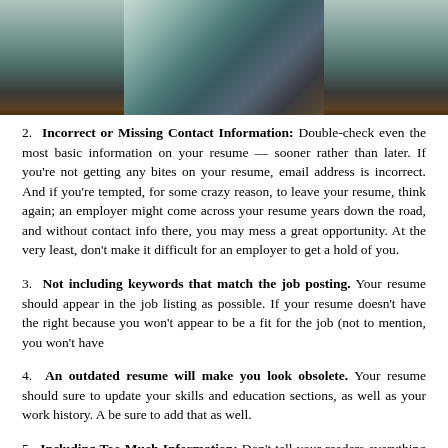[Figure (illustration): Top portion of a comic-style illustration showing a person at a desk, partially cropped]
2. Incorrect or Missing Contact Information: Double-check even the most basic information on your resume — sooner rather than later. If you're not getting any bites on your resume, it might be because your email address is incorrect. And if you're tempted, for some crazy reason, to leave your contact information off your resume, think again; an employer might come across your resume years down the road, and without contact info there, you may mess a great opportunity. At the very least, don't make it difficult for an employer to get a hold of you.
3. Not including keywords that match the job posting. Your resume should include as many keywords that appear in the job listing as possible. If your resume doesn't have the right keywords, it will get screened out because you won't appear to be a fit for the job (not to mention, you won't have passed the ATS).
4. An outdated resume will make you look obsolete. Your resume should always be current. Make sure to update your skills and education sections, as well as your work history. And if you've earned any certifications, be sure to add that as well.
5. Including Too Much Information: Don't tell your readers everything about every job you've had. Limit the document to 2 pages max (you're unlikely to get anyone to read further anyway). Use formatting techniques like bullets and short paragraphs to enhance readability. Limit your description of older experience if it would otherwise go on for too long. Remember: you don't need to include everything.
6. Leaving Off Important Information: You may be tempted, for example, to exclude a job that you took to earn extra money for school or to bide time during the recession while looking for something better. Typically, however, the soft skills you've gained from these experiences (e.g.